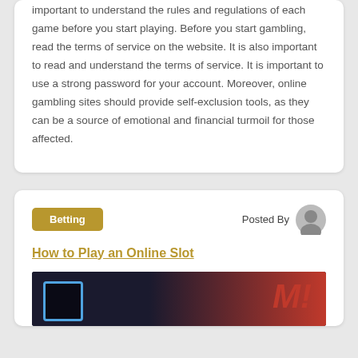important to understand the rules and regulations of each game before you start playing. Before you start gambling, read the terms of service on the website. It is also important to read and understand the terms of service. It is important to use a strong password for your account. Moreover, online gambling sites should provide self-exclusion tools, as they can be a source of emotional and financial turmoil for those affected.
Betting
Posted By
How to Play an Online Slot
[Figure (photo): Dark background image with neon blue screen/monitor on the left and large red italic text on the right, related to online slot gaming.]